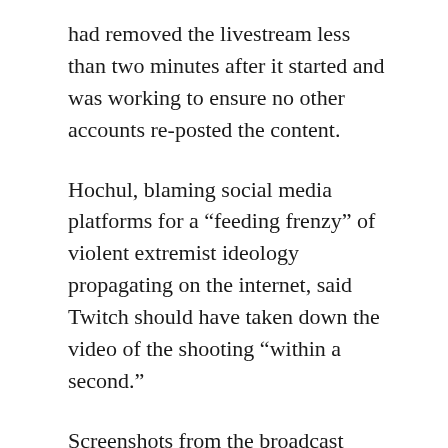had removed the livestream less than two minutes after it started and was working to ensure no other accounts re-posted the content.
Hochul, blaming social media platforms for a “feeding frenzy” of violent extremist ideology propagating on the internet, said Twitch should have taken down the video of the shooting “within a second.”
Screenshots from the broadcast circulated on social media through the day, including some that appeared to show the gunman standing over a body in the grocery store. Reuters was able to find footage from the livestream still posted on a website as recently as Wednesday morning.
A 733...